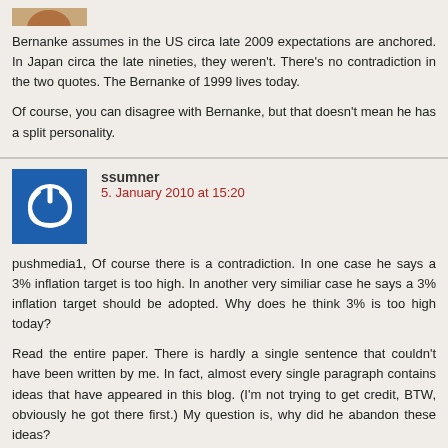Bernanke assumes in the US circa late 2009 expectations are anchored. In Japan circa the late nineties, they weren't. There's no contradiction in the two quotes. The Bernanke of 1999 lives today.
Of course, you can disagree with Bernanke, but that doesn't mean he has a split personality.
ssumner
5. January 2010 at 15:20
pushmedia1, Of course there is a contradiction. In one case he says a 3% inflation target is too high. In another very similiar case he says a 3% inflation target should be adopted. Why does he think 3% is too high today?
Read the entire paper. There is hardly a single sentence that couldn't have been written by me. In fact, almost every single paragraph contains ideas that have appeared in this blog. (I'm not trying to get credit, BTW, obviously he got there first.) My question is, why did he abandon these ideas?
pushmedia1
5. January 2010 at 15:39